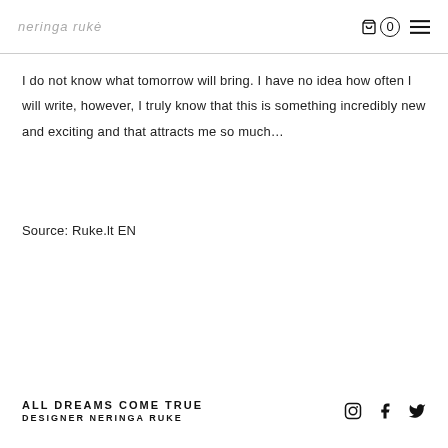neringa rukė
I do not know what tomorrow will bring. I have no idea how often I will write, however, I truly know that this is something incredibly new and exciting and that attracts me so much…
Source: Ruke.lt EN
ALL DREAMS COME TRUE
DESIGNER NERINGA RUKE